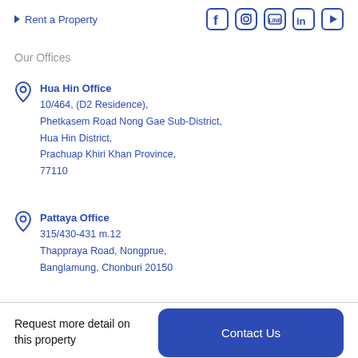Rent a Property
[Figure (other): Social media icons: Facebook, Instagram, LINE, LinkedIn, YouTube]
Our Offices
Hua Hin Office
10/464, (D2 Residence),
Phetkasem Road Nong Gae Sub-District,
Hua Hin District,
Prachuap Khiri Khan Province,
77110
Pattaya Office
315/430-431 m.12
Thappraya Road, Nongprue,
Banglamung, Chonburi 20150
Request more detail on this property
Contact Us